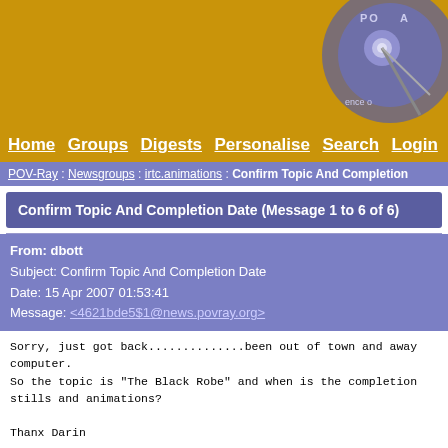[Figure (logo): POV-Ray website header banner with golden/yellow background and circular POV-Ray logo graphic in upper right]
Home  Groups  Digests  Personalise  Search  Login
POV-Ray : Newsgroups : irtc.animations : Confirm Topic And Completion
Confirm Topic And Completion Date (Message 1 to 6 of 6)
From: dbott
Subject: Confirm Topic And Completion Date
Date: 15 Apr 2007 01:53:41
Message: <4621bde5$1@news.povray.org>
Sorry, just got back..............been out of town and away
computer.
So the topic is "The Black Robe" and when is the completion
stills and animations?

Thanx Darin
Post a reply to this message
From: St
Subject: Re: Confirm Topic And Completion Date
Date: 15 Apr 2007 05:49:07
Message: <4621f513@news.povray.org>
"dbott" <dbo///> [at] costsoundadvice.com> wrote in message